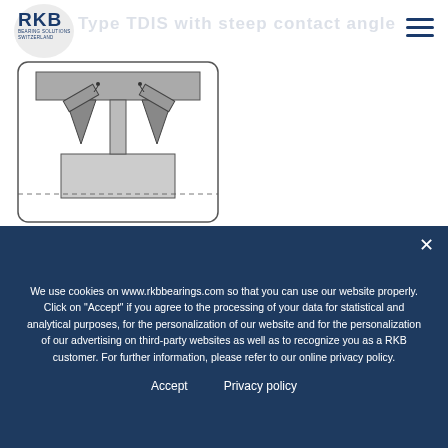RKB Bearing Solutions — Type TDIS with steep contact angle
[Figure (engineering-diagram): Cross-sectional engineering diagram of RKB TDIS bearing with steep contact angle, showing internal ball and raceway geometry]
[Figure (infographic): Four feature icons: HB (Bainite HT), O+ (Optimized), S (Stabilization), Profile]
We use cookies on www.rkbbearings.com so that you can use our website properly. Click on "Accept" if you agree to the processing of your data for statistical and analytical purposes, for the personalization of our website and for the personalization of our advertising on third-party websites as well as to recognize you as a RKB customer. For further information, please refer to our online privacy policy.
Accept     Privacy policy